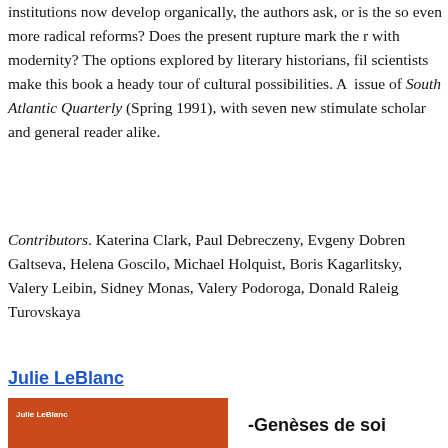institutions now develop organically, the authors ask, or is the solution even more radical reforms? Does the present rupture mark the reconciliation with modernity? The options explored by literary historians, film scientists make this book a heady tour of cultural possibilities. A issue of South Atlantic Quarterly (Spring 1991), with seven new stimulate scholar and general reader alike.
Contributors. Katerina Clark, Paul Debreczeny, Evgeny Dobren Galtseva, Helena Goscilo, Michael Holquist, Boris Kagarlitsky, Valery Leibin, Sidney Monas, Valery Podoroga, Donald Raleigh Turovskaya
Julie LeBlanc
[Figure (photo): Orange book cover with author name Julie LeBlanc in white text]
-Genèses de soi